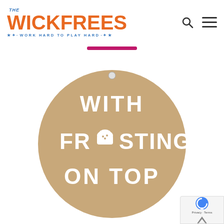[Figure (logo): The Wickfrees logo with orange bold text 'WICKFREES', small 'THE' above, and blue tagline 'WORK HARD TO PLAY HARD' with stars]
[Figure (other): Search icon (magnifying glass) and hamburger menu icon in the header]
[Figure (other): Magenta/pink horizontal bar decorative element]
[Figure (photo): Round tan/kraft colored ornament tag with white text reading 'WITH FROSTING ON TOP' where the O in FROSTING is replaced by a cupcake icon, with a hole at the top for hanging]
[Figure (other): reCAPTCHA badge in bottom right corner with Privacy and Terms links]